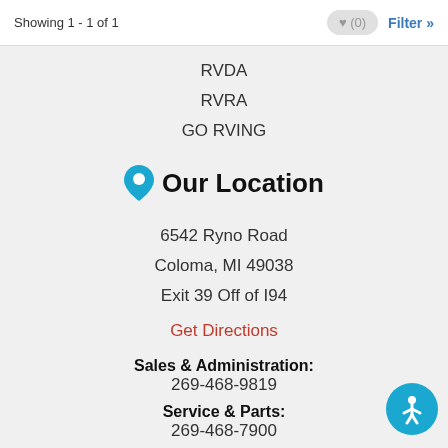Showing 1 - 1 of 1
RVDA
RVRA
GO RVING
Our Location
6542 Ryno Road
Coloma, MI 49038
Exit 39 Off of I94
Get Directions
Sales & Administration:
269-468-9819
Service & Parts:
269-468-7900